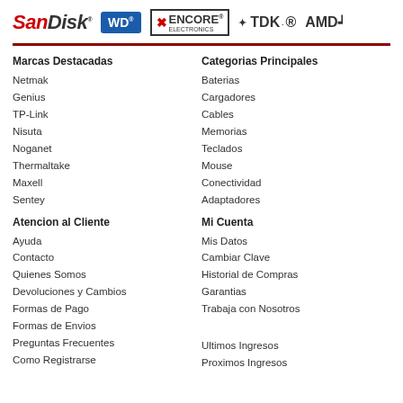[Figure (logo): Brand logos: SanDisk, WD, Encore Electronics, TDK, AMD]
Marcas Destacadas
Categorias Principales
Netmak
Baterias
Genius
Cargadores
TP-Link
Cables
Nisuta
Memorias
Noganet
Teclados
Thermaltake
Mouse
Maxell
Conectividad
Sentey
Adaptadores
Atencion al Cliente
Mi Cuenta
Ayuda
Mis Datos
Contacto
Cambiar Clave
Quienes Somos
Historial de Compras
Devoluciones y Cambios
Garantias
Formas de Pago
Trabaja con Nosotros
Formas de Envios
Preguntas Frecuentes
Ultimos Ingresos
Como Registrarse
Proximos Ingresos